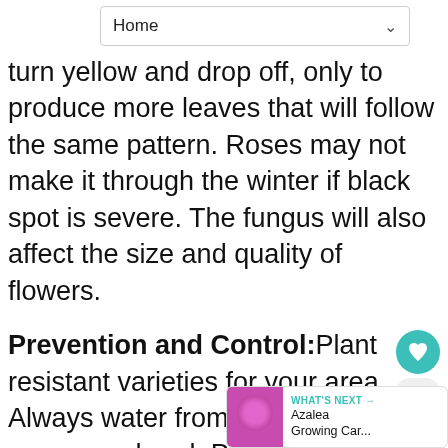Home
ma l turn yellow and drop off, only to produce more leaves that will follow the same pattern. Roses may not make it through the winter if black spot is severe. The fungus will also affect the size and quality of flowers.
Prevention and Control: Plant resistant varieties for your area. Always water from the ground, never overhead. Practice good sanitation - clean up and destroy debris, especially around plants that have had a problem. When pruning roses, even deadheading, dip pruners in a bleach/water solution after each cut. If a plant seems to have chronic black spot, remove it. A 2-3 inch